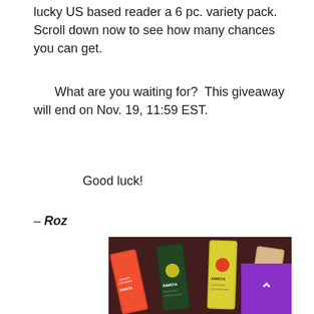lucky US based reader a 6 pc. variety pack.  Scroll down now to see how many chances you can get.
What are you waiting for?  This giveaway will end on Nov. 19, 11:59 EST.
Good luck!
– Roz
[Figure (photo): Photo of several Amrita brand energy/endurance bars in various flavors including Mango Coconut, laid out on a dark wooden surface. The bars have colorful packaging in green, yellow, orange, and tan colors.]